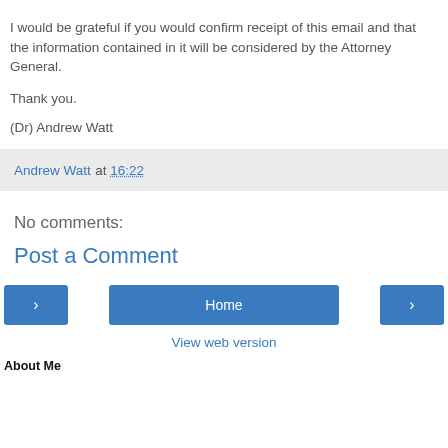I would be grateful if you would confirm receipt of this email and that the information contained in it will be considered by the Attorney General.
Thank you.
(Dr) Andrew Watt
Andrew Watt at 16:22
No comments:
Post a Comment
Home
View web version
About Me